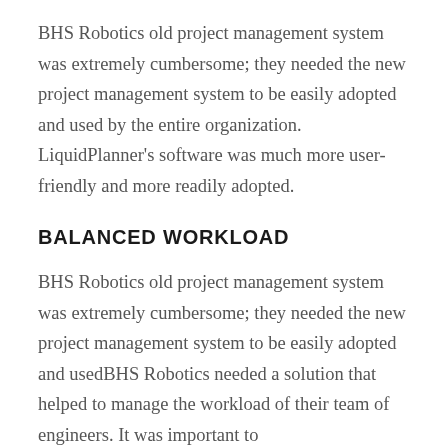BHS Robotics old project management system was extremely cumbersome; they needed the new project management system to be easily adopted and used by the entire organization. LiquidPlanner's software was much more user-friendly and more readily adopted.
BALANCED WORKLOAD
BHS Robotics old project management system was extremely cumbersome; they needed the new project management system to be easily adopted and usedBHS Robotics needed a solution that helped to manage the workload of their team of engineers. It was important to